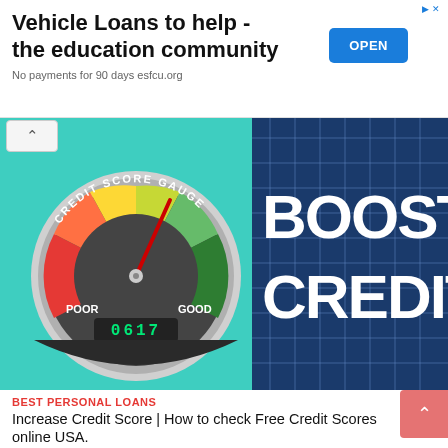Vehicle Loans to help - the education community
No payments for 90 days esfcu.org
[Figure (infographic): Credit score gauge showing 0617 with POOR on the left and GOOD on the right, needle pointing slightly above center-right. Overlaid on teal background. Right side shows blurred blue building with white text BOOST CREDIT.]
BEST PERSONAL LOANS
Increase Credit Score | How to check Free Credit Scores online USA.
August 28, 2022/